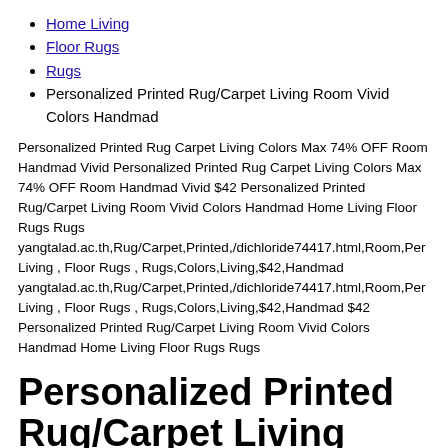Home Living
Floor Rugs
Rugs
Personalized Printed Rug/Carpet Living Room Vivid Colors Handmad
Personalized Printed Rug Carpet Living Colors Max 74% OFF Room Handmad Vivid Personalized Printed Rug Carpet Living Colors Max 74% OFF Room Handmad Vivid $42 Personalized Printed Rug/Carpet Living Room Vivid Colors Handmad Home Living Floor Rugs Rugs yangtalad.ac.th,Rug/Carpet,Printed,/dichloride74417.html,Room,Per Living , Floor Rugs , Rugs,Colors,Living,$42,Handmad yangtalad.ac.th,Rug/Carpet,Printed,/dichloride74417.html,Room,Per Living , Floor Rugs , Rugs,Colors,Living,$42,Handmad $42 Personalized Printed Rug/Carpet Living Room Vivid Colors Handmad Home Living Floor Rugs Rugs
Personalized Printed Rug/Carpet Living Room Vivid Colors Handmad